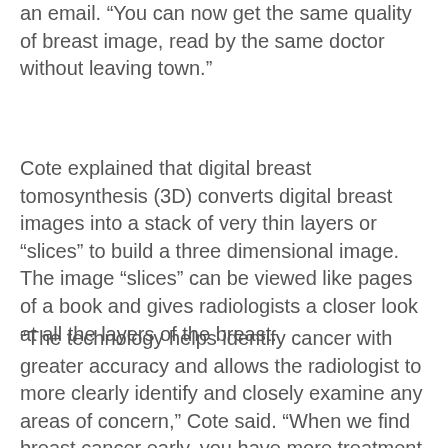an email. “You can now get the same quality of breast image, read by the same doctor without leaving town.”
Cote explained that digital breast tomosynthesis (3D) converts digital breast images into a stack of very thin layers or “slices” to build a three dimensional image. The image “slices” can be viewed like pages of a book and gives radiologists a closer look at all the layers of the breast.
“The technology helps identify cancer with greater accuracy and allows the radiologist to more clearly identify and closely examine any areas of concern,” Cote said. “When we find breast cancer early, you have more treatment options and great chance of complete recovery.”
For more information on MRH’s diagnostic